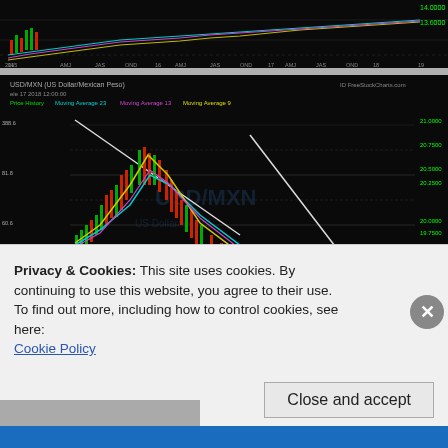[Figure (continuous-plot): Top portion of a USD/MXN long-term candlestick chart with moving averages, showing data from 2014-2015 to 2019. Black background with green/red candles and colored moving average lines. X-axis shows years 14/2015 through 19, y-axis shows values around 13-14.]
[Figure (continuous-plot): USD/MXN (US Dollar/Mexican Peso) candlestick chart with MACD indicator. Black background. Main chart shows price history with Moving Average 23, Moving Average 13, Moving Average 9 lines in green, cyan, yellow/purple. Watermark text 'USD/MXN US Dollar/Mexican Peso' in center. White diagonal trend lines drawn on chart. Price range approximately 18-22 on y-axis. Bottom panel shows MACD 12 26 with Exp Moving Average 9. Time range from June 2018 to late July/August 2018. FreeStockCharts.com watermark. Current price highlighted around 18.8-19 level.]
Privacy & Cookies: This site uses cookies. By continuing to use this website, you agree to their use.
To find out more, including how to control cookies, see here:
Cookie Policy
Close and accept